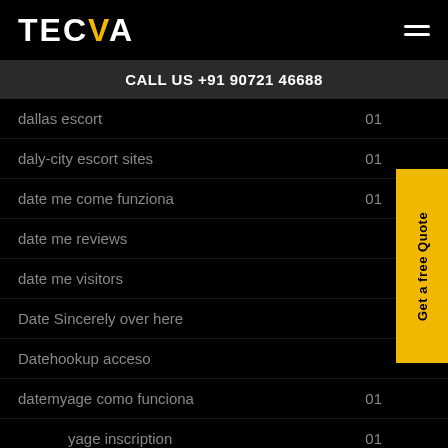TECVA
CALL US +91 90721 46688
dallas escort  01
daly-city escort sites  01
date me come funziona  01
date me reviews
date me visitors
Date Sincerely over here
Datehookup acceso
datemyage como funciona  01
datemyage inscription  01
DateMyAge reviews  02